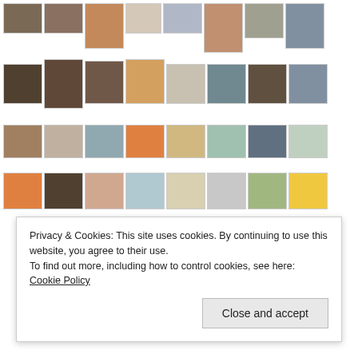[Figure (screenshot): A blog or gallery website screenshot showing a grid of thumbnail photos arranged in 4 rows. Row 1 contains 8 thumbnails (art gallery interior, mural/street scene, portrait painting with hat, line drawing figure, sketchy portrait, figure in red, sketched figure, cityscape/window view). Row 2 contains 8 thumbnails (gallery wall with artwork, charcoal portrait, charcoal/dark portrait, black charcoal face, colorful abstract, interior photo, dark gallery room, street scene with buildings). Row 3 contains 8 thumbnails (restaurant interior, cafe/shop exterior, colorful market/food, market food closeup, sushi/food, shelves display, seafood dish, market stall). Row 4 contains 8 thumbnails (salmon/fish stall, fish market, market stalls, food preparation, keys/hardware, document/paper, botanical sketch, green shoes/objects). A cookie consent banner overlays the lower portion of the page.]
Privacy & Cookies: This site uses cookies. By continuing to use this website, you agree to their use.
To find out more, including how to control cookies, see here: Cookie Policy
Close and accept